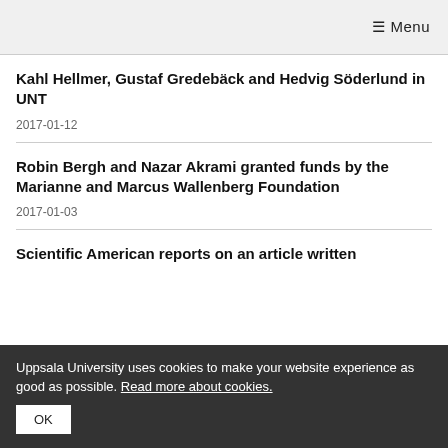≡ Menu
Kahl Hellmer, Gustaf Gredebäck and Hedvig Söderlund in UNT
2017-01-12
Robin Bergh and Nazar Akrami granted funds by the Marianne and Marcus Wallenberg Foundation
2017-01-03
Scientific American reports on an article written
Uppsala University uses cookies to make your website experience as good as possible. Read more about cookies.